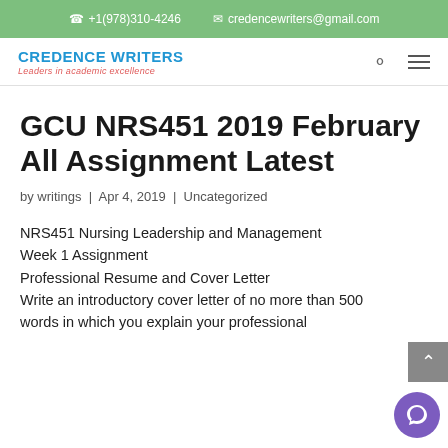+1(978)310-4246   credencewriters@gmail.com
[Figure (logo): Credence Writers logo with blue text 'CREDENCE WRITERS' and red italic subtitle 'Leaders in academic excellence']
GCU NRS451 2019 February All Assignment Latest
by writings | Apr 4, 2019 | Uncategorized
NRS451 Nursing Leadership and Management
Week 1 Assignment
Professional Resume and Cover Letter
Write an introductory cover letter of no more than 500 words in which you explain your professional